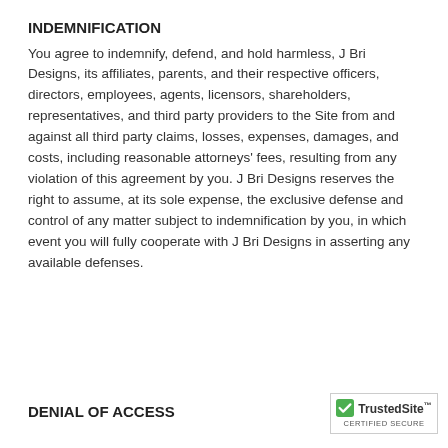INDEMNIFICATION
You agree to indemnify, defend, and hold harmless, J Bri Designs, its affiliates, parents, and their respective officers, directors, employees, agents, licensors, shareholders, representatives, and third party providers to the Site from and against all third party claims, losses, expenses, damages, and costs, including reasonable attorneys' fees, resulting from any violation of this agreement by you. J Bri Designs reserves the right to assume, at its sole expense, the exclusive defense and control of any matter subject to indemnification by you, in which event you will fully cooperate with J Bri Designs in asserting any available defenses.
DENIAL OF ACCESS